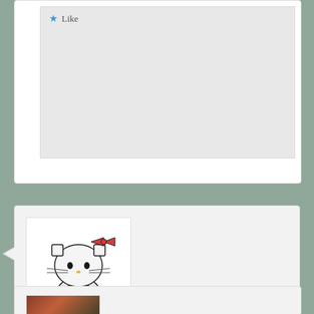[Figure (screenshot): Partial blog comment section showing a 'Like' button at the top, cut off]
[Figure (illustration): Hello Kitty avatar image for commenter ReginaMary]
ReginaMary on April 5, 2021 at 10:24 am said:
I have never tried dying. You did a beautiful job!
Like
Reply ↓
[Figure (photo): Partial avatar image at bottom of page, showing colorful circular items on a dark background]